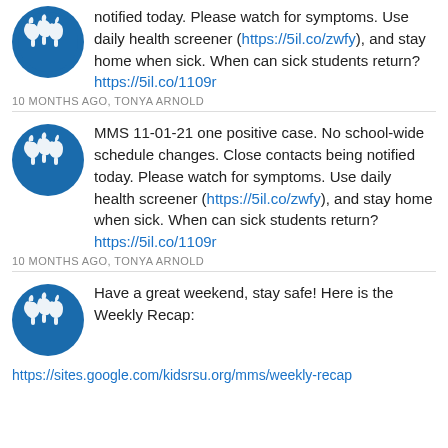notified today. Please watch for symptoms. Use daily health screener (https://5il.co/zwfy), and stay home when sick. When can sick students return? https://5il.co/1109r
10 MONTHS AGO, TONYA ARNOLD
MMS 11-01-21 one positive case. No school-wide schedule changes. Close contacts being notified today. Please watch for symptoms. Use daily health screener (https://5il.co/zwfy), and stay home when sick. When can sick students return? https://5il.co/1109r
10 MONTHS AGO, TONYA ARNOLD
Have a great weekend, stay safe! Here is the Weekly Recap:
https://sites.google.com/kidsrsu.org/mms/weekly-recap